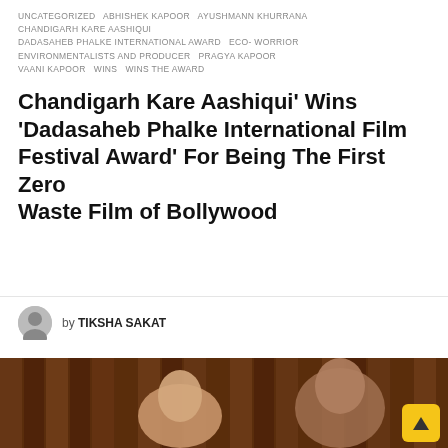UNCATEGORIZED  ABHISHEK KAPOOR  AYUSHMANN KHURRANA  CHANDIGARH KARE AASHIQUI  DADASAHEB PHALKE INTERNATIONAL AWARD  ECO- WORRIOR ENVIRONMENTALISTS AND PRODUCER  PRAGYA KAPOOR  VAANI KAPOOR  WINS  WINS THE AWARD
Chandigarh Kare Aashiqui' Wins 'Dadasaheb Phalke International Film Festival Award' For Being The First Zero Waste Film of Bollywood
₹27.58 ▲
by TIKSHA SAKAT
[Figure (photo): Photo of two people (man and woman) posing together against a wooden background]